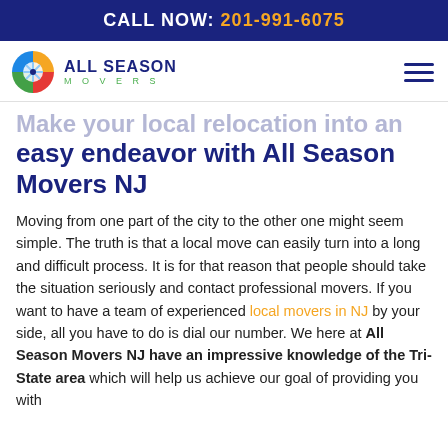CALL NOW: 201-991-6075
[Figure (logo): All Season Movers logo with colorful circular icon and navy blue brand name text]
easy endeavor with All Season Movers NJ
Moving from one part of the city to the other one might seem simple. The truth is that a local move can easily turn into a long and difficult process. It is for that reason that people should take the situation seriously and contact professional movers. If you want to have a team of experienced local movers in NJ by your side, all you have to do is dial our number. We here at All Season Movers NJ have an impressive knowledge of the Tri-State area which will help us achieve our goal of providing you with